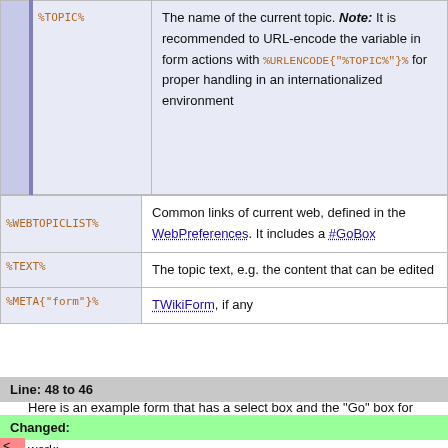|  | Variable | Description |
| --- | --- | --- |
|  | %TOPIC% | The name of the current topic. Note: It is recommended to URL-encode the variable in form actions with %URLENCODE{"%TOPIC%"}% for proper handling in an internationalized environment |
| Variable | Description |
| --- | --- |
| %WEBTOPICLIST% | Common links of current web, defined in the WebPreferences. It includes a #GoBox |
| %TEXT% | The topic text, e.g. the content that can be edited |
| %META{"form"}% | TWikiForm, if any |
Line: 48 to 46
Here is an example form that has a select box and the "Go" box for illustration purposes. You need to have JavaScript enabled for this to work:
Changed:
<